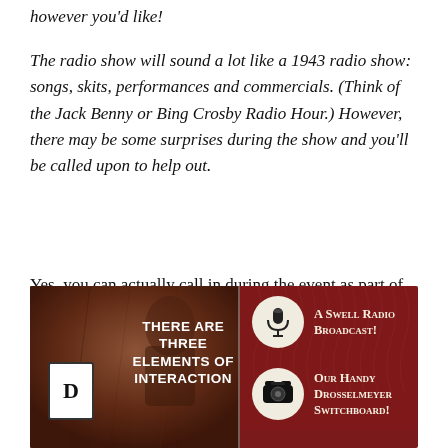however you'd like!
The radio show will sound a lot like a 1943 radio show: songs, skits, performances and commercials. (Think of the Jack Benny or Bing Crosby Radio Hour.) However, there may be some surprises during the show and you'll be called upon to help out.
Yes, you can actually call in during the event as part of the solving experience, engaging with a mix of prerecorded messages and live interactions with the actors.
[Figure (infographic): Dark red infographic split into two sections. Left: vintage photo background with playing card 'D' and text 'THERE ARE THREE ELEMENTS OF INTERACTION'. Right: dark red art-deco pattern with two circular icons — a microphone for 'A Swell Radio Broadcast!' and a telephone for 'Our Handy Drosselmeyer Switchboard!']